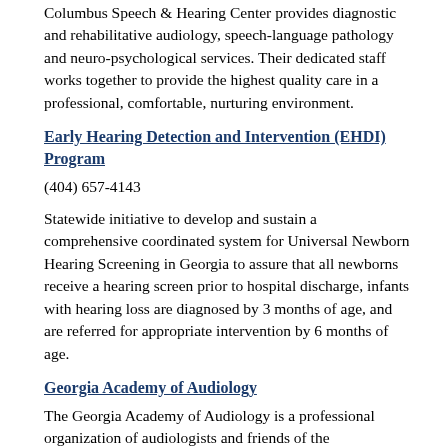Columbus Speech & Hearing Center provides diagnostic and rehabilitative audiology, speech-language pathology and neuro-psychological services. Their dedicated staff works together to provide the highest quality care in a professional, comfortable, nurturing environment.
Early Hearing Detection and Intervention (EHDI) Program
(404) 657-4143
Statewide initiative to develop and sustain a comprehensive coordinated system for Universal Newborn Hearing Screening in Georgia to assure that all newborns receive a hearing screen prior to hospital discharge, infants with hearing loss are diagnosed by 3 months of age, and are referred for appropriate intervention by 6 months of age.
Georgia Academy of Audiology
The Georgia Academy of Audiology is a professional organization of audiologists and friends of the